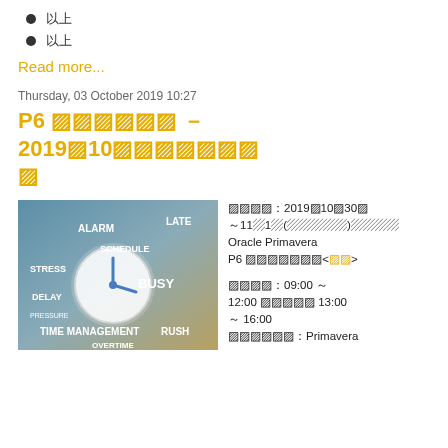以上
以上
Read more...
Thursday, 03 October 2019 10:27
P6 トレーニング – 2019年10月トレーニングスケジュール
[Figure (photo): Time management concept image with clock and words: ALARM, LATE, SCHEDULE, STRESS, BUSY, DELAY, PRESSURE, TIME MANAGEMENT, RUSH, OVERTIME]
受講日時：2019年10月30日～11月1日(木～金)　内容：Oracle Primavera P6 トレーニングコース<詳細>

受講時間：09:00 ～ 12:00 　休憩　 13:00 ～ 16:00
使用教材：Primavera